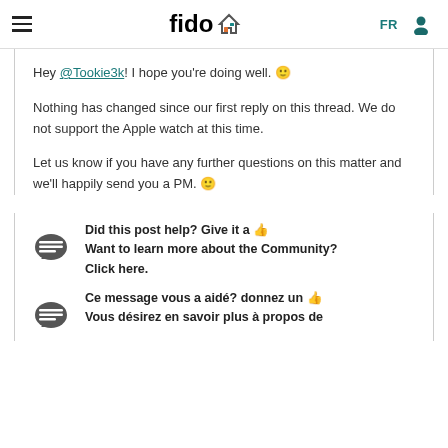fido — FR [menu icon] [user icon]
Hey @Tookie3k! I hope you're doing well. 🙂
Nothing has changed since our first reply on this thread. We do not support the Apple watch at this time.
Let us know if you have any further questions on this matter and we'll happily send you a PM. 🙂
Did this post help? Give it a 👍 Want to learn more about the Community? Click here.
Ce message vous a aidé? donnez un 👍 Vous désirez en savoir plus à propos de